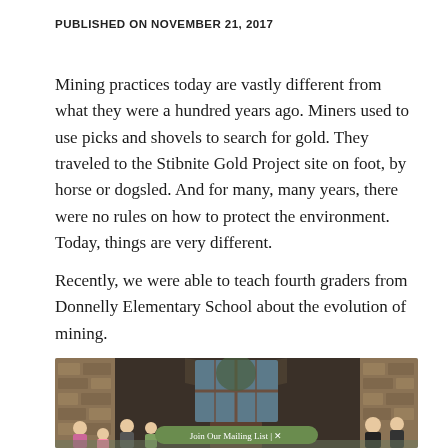PUBLISHED ON NOVEMBER 21, 2017
Mining practices today are vastly different from what they were a hundred years ago. Miners used to use picks and shovels to search for gold. They traveled to the Stibnite Gold Project site on foot, by horse or dogsled. And for many, many years, there were no rules on how to protect the environment. Today, things are very different.
Recently, we were able to teach fourth graders from Donnelly Elementary School about the evolution of mining.
[Figure (photo): Group photo of fourth grade students and adults standing in front of a stone building entrance with large wooden-framed windows. A green 'Join Our Mailing List | X' overlay button appears at the bottom center of the photo.]